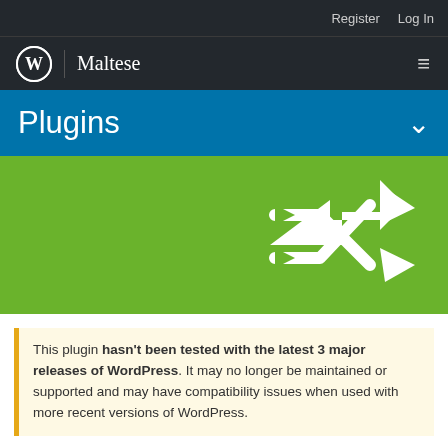Register  Log In
WordPress | Maltese
Plugins
[Figure (illustration): Shuffle/random plugin icon — two white arrow paths crossing over each other on a green background]
This plugin hasn't been tested with the latest 3 major releases of WordPress. It may no longer be maintained or supported and may have compatibility issues when used with more recent versions of WordPress.